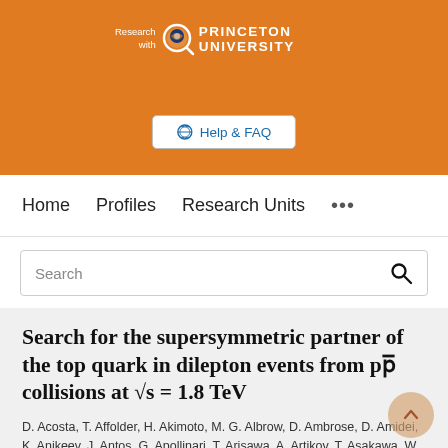[Figure (logo): Research with Princeton University logo on orange banner with Help & FAQ button]
Home   Profiles   Research Units   ...
Search
Search for the supersymmetric partner of the top quark in dilepton events from pp̄ collisions at √s = 1.8 TeV
D. Acosta, T. Affolder, H. Akimoto, M. G. Albrow, D. Ambrose, D. Amidei, K. Anikeev, J. Antos, G. Apollinari, T. Arisawa, A. Artikov, T. Asakawa, W. Ashmanskas, F. Azfar, P.